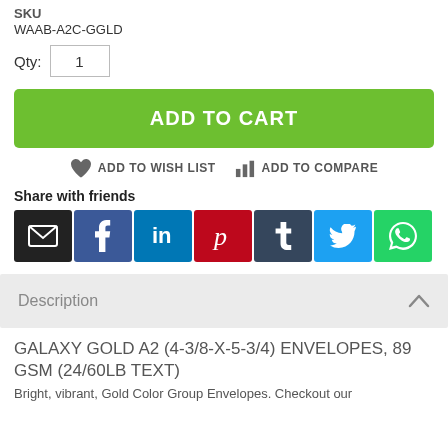SKU
WAAB-A2C-GGLD
Qty: 1
ADD TO CART
ADD TO WISH LIST   ADD TO COMPARE
Share with friends
[Figure (infographic): Social share buttons: Email, Facebook, LinkedIn, Pinterest, Tumblr, Twitter, WhatsApp]
Description
GALAXY GOLD A2 (4-3/8-X-5-3/4) ENVELOPES, 89 GSM (24/60LB TEXT)
Bright, vibrant, Gold Color Group Envelopes. Checkout our